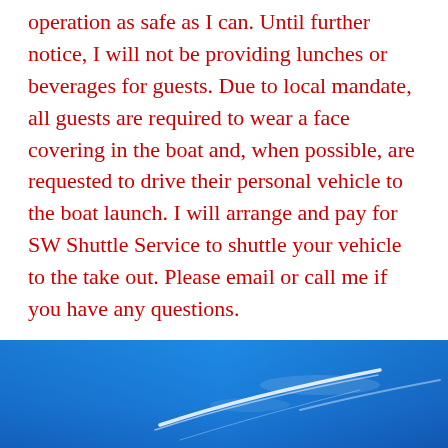operation as safe as I can. Until further notice, I will not be providing lunches or beverages for guests. Due to local mandate, all guests are required to wear a face covering in the boat and, when possible, are requested to drive their personal vehicle to the boat launch. I will arrange and pay for SW Shuttle Service to shuttle your vehicle to the take out. Please email or call me if you have any questions.
[Figure (photo): Blue sky background image with white contrail or cloud streaks, used as a decorative footer image.]